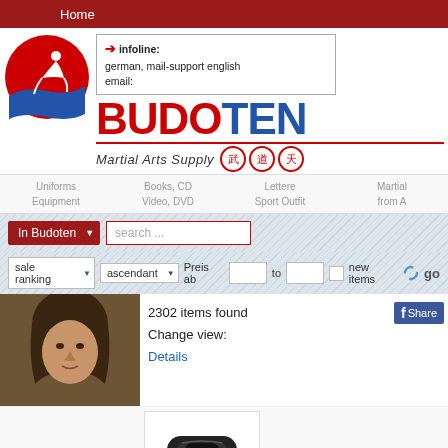Home
infoline:
german, mail-support english
email:
[Figure (logo): Budoten martial arts logo: red circle with white figure and blue wave, plus BUDOTEN text in red/blue with Martial Arts Supply tagline and kanji circles]
Uniforms Equipment
Books, CD Video, DVD
Lettere Sport Outfit
Martial Arts from A
In Budoten  search ...
sale ranking  ascendant  Preis ab  to  new items  go
[Figure (photo): Photo of a woman with brown hair]
2302 items found
Change view:
Details
[Figure (photo): Product thumbnail showing a black martial arts item (belt/neck guard)]